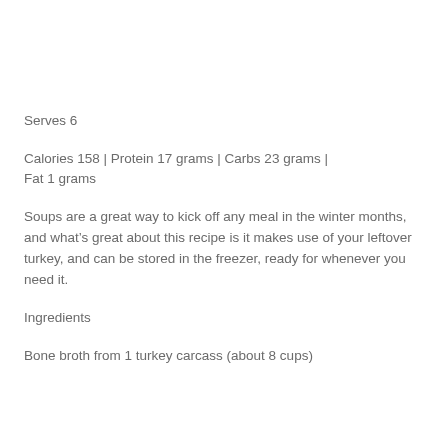Serves 6
Calories 158 | Protein 17 grams | Carbs 23 grams | Fat 1 grams
Soups are a great way to kick off any meal in the winter months, and what’s great about this recipe is it makes use of your leftover turkey, and can be stored in the freezer, ready for whenever you need it.
Ingredients
Bone broth from 1 turkey carcass (about 8 cups)